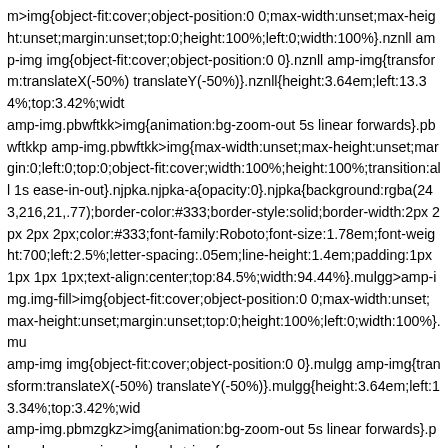m>img{object-fit:cover;object-position:0 0;max-width:unset;max-height:unset;margin:unset;top:0;height:100%;left:0;width:100%}.nznll amp-img img{object-fit:cover;object-position:0 0}.nznll amp-img{transform:translateX(-50%) translateY(-50%)}.nznll{height:3.64em;left:13.34%;top:3.42%;width: amp-img.pbwftkk>img{animation:bg-zoom-out 5s linear forwards}.pbwftkkp amp-img.pbwftkk>img{max-width:unset;max-height:unset;margin:0;left:0;top:0;object-fit:cover;width:100%;height:100%;transition:all 1s ease-in-out}.njpka.njpka-a{opacity:0}.njpka{background:rgba(243,216,21,.77);border-color:#333;border-style:solid;border-width:2px 2px 2px 2px;color:#333;font-family:Roboto;font-size:1.78em;font-weight:700;left:2.5%;letter-spacing:.05em;line-height:1.4em;padding:1px 1px 1px 1px;text-align:center;top:84.5%;width:94.44%}.mulgg>amp-img.img-fill>img{object-fit:cover;object-position:0 0;max-width:unset;max-height:unset;margin:unset;top:0;height:100%;left:0;width:100%}.mulgg amp-img img{object-fit:cover;object-position:0 0}.mulgg amp-img{transform:translateX(-50%) translateY(-50%)}.mulgg{height:3.64em;left:13.34%;top:3.42%;width: amp-img.pbmzgkz>img{animation:bg-zoom-out 5s linear forwards}.pbmzgkzp amp-img.pbmzgkz>img{max-width:unset;max-height:unset;margin:0;left:0;top:0;object-